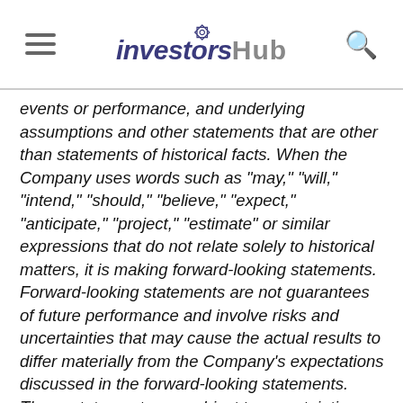investorshub
events or performance, and underlying assumptions and other statements that are other than statements of historical facts. When the Company uses words such as "may," "will," "intend," "should," "believe," "expect," "anticipate," "project," "estimate" or similar expressions that do not relate solely to historical matters, it is making forward-looking statements. Forward-looking statements are not guarantees of future performance and involve risks and uncertainties that may cause the actual results to differ materially from the Company's expectations discussed in the forward-looking statements. These statements are subject to uncertainties and risks including, but not limited to, the following: the occurrence of any event, change or other circumstances that could give rise to the terms of the Agreement not hereafter being memorialized in a definitive agreement; the outcome of any legal proceedings that